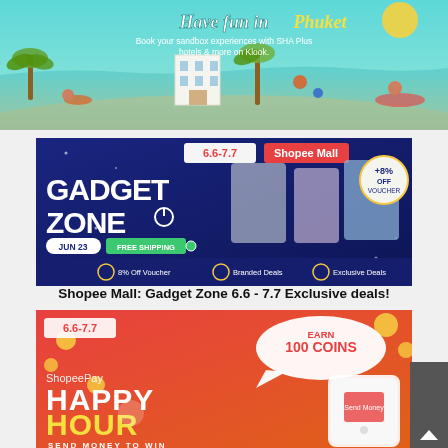[Figure (illustration): Klook promotional banner: 'Have fun in Phuket' with beach scene, people relaxing, hotel building, palm trees, sun, and surfer. Text: 'Book your sandbox experiences with SHA Plus hotels & more on Klook.']
[Figure (illustration): Shopee Mall Gadget Zone 6.6-7.7 promotional banner. Dark blue background with gadgets (vacuum, phones). Text: 'GADGET ZONE', 'JUN 23 FREE SHIPPING', '+8% OFF VOUCHER', '8% Off Voucher | Branded Deals | Exclusive Deals'. Fine print at bottom.]
Shopee Mall: Gadget Zone 6.6 - 7.7 Exclusive deals!
[Figure (illustration): ShopeePay Happy Hour 6.6-7.7 promotional banner. Orange-red background. Text: 'EARN 100 COINS', 'ShopeePay HAPPY HOUR', 'SEND MONEY TO WIN'. Mobile phone mockup on right side showing Send Money feature.]